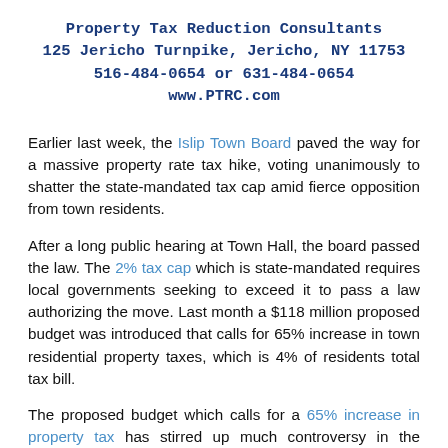Property Tax Reduction Consultants
125 Jericho Turnpike, Jericho, NY 11753
516-484-0654 or 631-484-0654
www.PTRC.com
Earlier last week, the Islip Town Board paved the way for a massive property rate tax hike, voting unanimously to shatter the state-mandated tax cap amid fierce opposition from town residents.
After a long public hearing at Town Hall, the board passed the law. The 2% tax cap which is state-mandated requires local governments seeking to exceed it to pass a law authorizing the move. Last month a $118 million proposed budget was introduced that calls for 65% increase in town residential property taxes, which is 4% of residents total tax bill.
The proposed budget which calls for a 65% increase in property tax has stirred up much controversy in the community. Some residents are outraged by it, while others